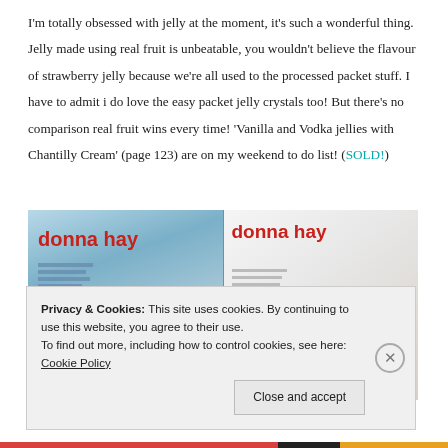I'm totally obsessed with jelly at the moment, it's such a wonderful thing. Jelly made using real fruit is unbeatable, you wouldn't believe the flavour of strawberry jelly because we're all used to the processed packet stuff. I have to admit i do love the easy packet jelly crystals too! But there's no comparison real fruit wins every time! 'Vanilla and Vodka jellies with Chantilly Cream' (page 123) are on my weekend to do list! (SOLD!)
[Figure (photo): Two Donna Hay magazine covers/pages side by side. Left shows the magazine cover with 'donna hay' in red text and white snowflake-shaped desserts on a blue background. Right shows an open magazine spread with 'donna hay' in red text and red jelly drinks/glasses on a white background.]
Privacy & Cookies: This site uses cookies. By continuing to use this website, you agree to their use. To find out more, including how to control cookies, see here: Cookie Policy
Close and accept